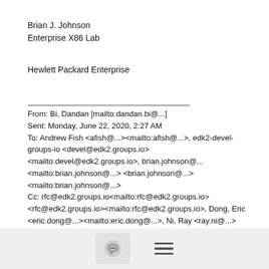Brian J. Johnson
Enterprise X86 Lab
Hewlett Packard Enterprise
From: Bi, Dandan [mailto:dandan.bi@...]
Sent: Monday, June 22, 2020, 2:27 AM
To: Andrew Fish <afish@...><mailto:afish@...>, edk2-devel-groups-io <devel@edk2.groups.io> <mailto:devel@edk2.groups.io>, brian.johnson@... <mailto:brian.johnson@...> <brian.johnson@...> <mailto:brian.johnson@...>
Cc: rfc@edk2.groups.io<mailto:rfc@edk2.groups.io> <rfc@edk2.groups.io><mailto:rfc@edk2.groups.io>, Dong, Eric <eric.dong@...><mailto:eric.dong@...>, Ni, Ray <ray.ni@...> <mailto:ray.ni@...>, Wang, Jian J <jian.j.wang@...> <mailto:jian.j.wang@...>, Wu, Hao A <hao.a.wu@...>